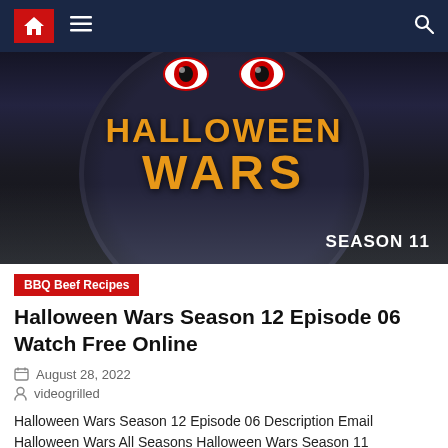Navigation bar with home, menu, and search icons
[Figure (photo): Halloween Wars Season 11 promotional image with orange text on dark background. Text reads HALLOWEEN WARS with SEASON 11 in bottom right.]
BBQ Beef Recipes
Halloween Wars Season 12 Episode 06 Watch Free Online
August 28, 2022
videogrilled
Halloween Wars Season 12 Episode 06 Description Email Halloween Wars All Seasons Halloween Wars Season 11 Halloween Wars Season 12 Episode 01 | Episode 02 | Episode 03 | Episode 04 | Episode 05 | Episode 06 | Episode 07 | Episode 08 Halloween Wars Show Summary Halloween Wars is an